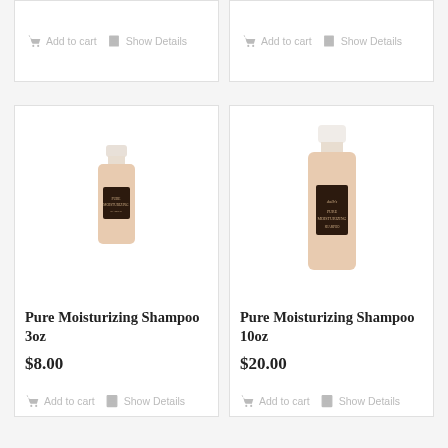[Figure (screenshot): Top partial product cards showing Add to cart and Show Details buttons in gray]
[Figure (photo): Pure Moisturizing Shampoo 3oz bottle - small beige bottle with dark label]
Pure Moisturizing Shampoo 3oz
$8.00
[Figure (photo): Pure Moisturizing Shampoo 10oz bottle - tall beige bottle with white cap and dark label]
Pure Moisturizing Shampoo 10oz
$20.00